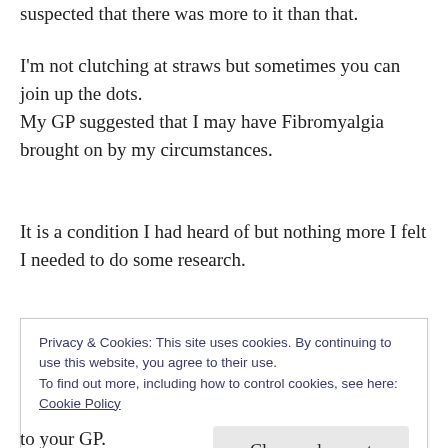suspected that there was more to it than that.
I'm not clutching at straws but sometimes you can join up the dots.
My GP suggested that I may have Fibromyalgia brought on by my circumstances.
It is a condition I had heard of but nothing more I felt I needed to do some research.
That is when I received a lightbulb moment. There are some things which mimic Fibromyalgia symptoms. But suddenly there it was, in black and
Privacy & Cookies: This site uses cookies. By continuing to use this website, you agree to their use.
To find out more, including how to control cookies, see here: Cookie Policy
to your GP.